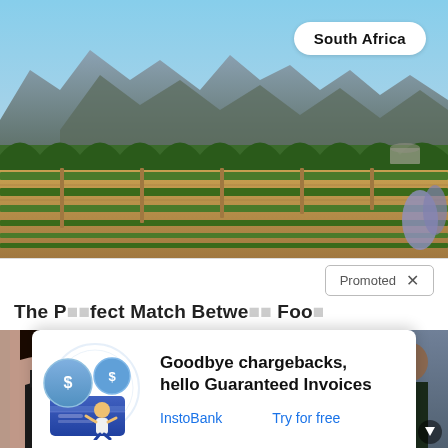[Figure (photo): South Africa vineyard landscape with mountains in background, rows of grapevines in foreground, blue sky. White pill-shaped label reads 'South Africa' in top-right corner.]
Promoted ×
The Perfect Match Between Food...
[Figure (photo): Two women in black swimwear/lingerie showing backs with tattoos.]
[Figure (photo): Politicians at a press event with a play button overlay, including a woman in purple.]
A
St
Fa
[Figure (illustration): Illustration of a person with dollar coins and a credit card, representing financial transactions.]
Goodbye chargebacks,
hello Guaranteed Invoices
InstoBank
Try for free